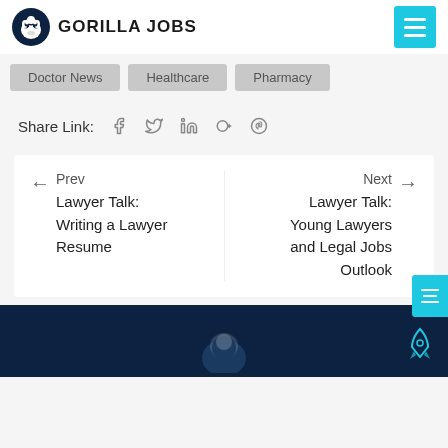GORILLA JOBS
Doctor News
Healthcare
Pharmacy
Share Link:
Prev
Lawyer Talk: Writing a Lawyer Resume
Next
Lawyer Talk: Young Lawyers and Legal Jobs Outlook